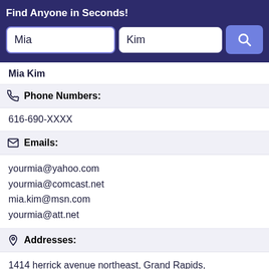Find Anyone in Seconds!
Mia Kim
Phone Numbers:
616-690-XXXX
Emails:
yourmia@yahoo.com
yourmia@comcast.net
mia.kim@msn.com
yourmia@att.net
Addresses:
1414 herrick avenue northeast, Grand Rapids, Michigan, United States 49505
Record Overview:
There are 1 Addresses for this record. 1 phone